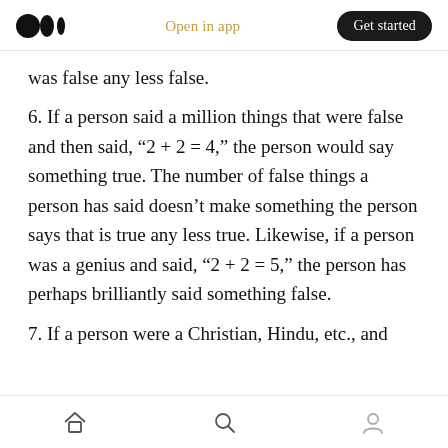Medium logo | Open in app | Get started
was false any less false.
6. If a person said a million things that were false and then said, ‘2 + 2 = 4,’ the person would say something true. The number of false things a person has said doesn’t make something the person says that is true any less true. Likewise, if a person was a genius and said, ‘2 + 2 = 5,’ the person has perhaps brilliantly said something false.
7. If a person were a Christian, Hindu, etc., and believed 2 + 2 = 4, it would hinder them...
Home | Search | Profile